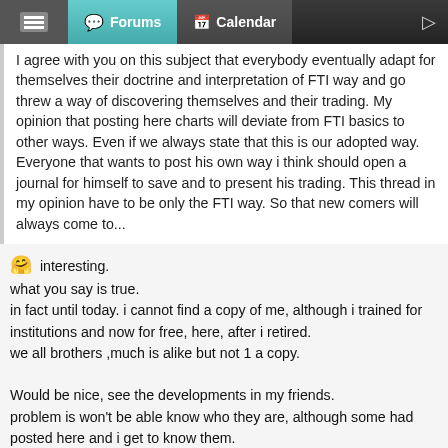Forums | Calendar
I agree with you on this subject that everybody eventually adapt for themselves their doctrine and interpretation of FTI way and go threw a way of discovering themselves and their trading. My opinion that posting here charts will deviate from FTI basics to other ways. Even if we always state that this is our adopted way. Everyone that wants to post his own way i think should open a journal for himself to save and to present his trading. This thread in my opinion have to be only the FTI way. So that new comers will always come to...
🤗 interesting.
what you say is true.
in fact until today. i cannot find a copy of me, although i trained for institutions and now for free, here, after i retired.
we all brothers ,much is alike but not 1 a copy.

Would be nice, see the developments in my friends.
problem is won't be able know who they are, although some had posted here and i get to know them.
only then i know which journals visit. take a look. i am thinking there will be
1 ← Page 2094 → 3176
[Figure (other): OANDA broker advertisement banner: 'SWITCH TO A BROKER WITH INTEGRITY' on dark background, OANDA logo and 'TRADE NOW' on green background]